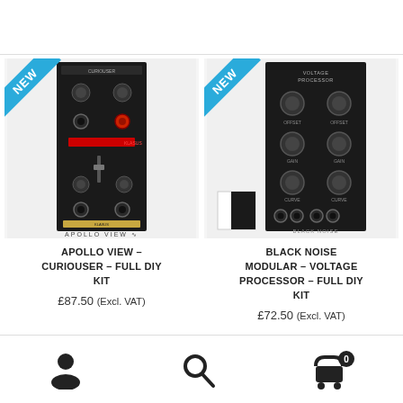[Figure (photo): Apollo View Curiouser Eurorack module product image with NEW badge in top left corner and Apollo View logo at bottom]
[Figure (photo): Black Noise Modular Voltage Processor Eurorack module product image with NEW badge in top left corner and Black Noise logo at bottom]
APOLLO VIEW – CURIOUSER – FULL DIY KIT
£87.50 (Excl. VAT)
BLACK NOISE MODULAR – VOLTAGE PROCESSOR – FULL DIY KIT
£72.50 (Excl. VAT)